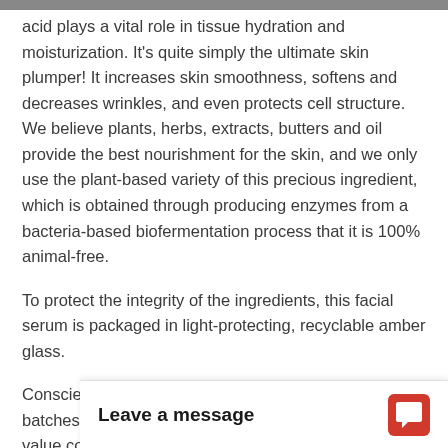acid plays a vital role in tissue hydration and moisturization. It's quite simply the ultimate skin plumper! It increases skin smoothness, softens and decreases wrinkles, and even protects cell structure. We believe plants, herbs, extracts, butters and oil provide the best nourishment for the skin, and we only use the plant-based variety of this precious ingredient, which is obtained through producing enzymes from a bacteria-based biofermentation process that it is 100% animal-free.
To protect the integrity of the ingredients, this facial serum is packaged in light-protecting, recyclable amber glass.
Conscientiously crafted, handmade skincare in small batches using 100% pure botanical ingredients. We value conserving our natural resources, and your product has sustainable ingredients.
Use: Wash and tone the products, then apply a over the face, including